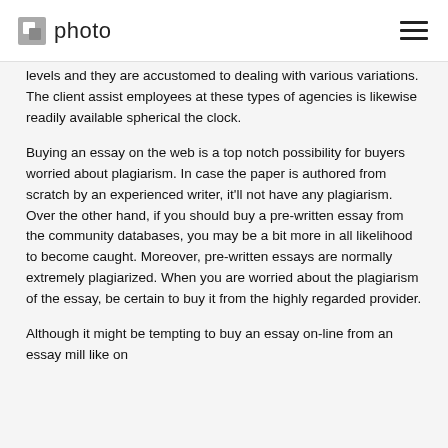photo
levels and they are accustomed to dealing with various variations. The client assist employees at these types of agencies is likewise readily available spherical the clock.
Buying an essay on the web is a top notch possibility for buyers worried about plagiarism. In case the paper is authored from scratch by an experienced writer, it'll not have any plagiarism. Over the other hand, if you should buy a pre-written essay from the community databases, you may be a bit more in all likelihood to become caught. Moreover, pre-written essays are normally extremely plagiarized. When you are worried about the plagiarism of the essay, be certain to buy it from the highly regarded provider.
Although it might be tempting to buy an essay on-line from an essay mill like on